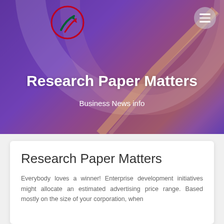[Figure (photo): Hero banner with purple/blue/orange gradient overlay on an architectural photo, with a logo in the top-left and hamburger menu icon top-right]
Research Paper Matters
Business News info
Research Paper Matters
Everybody loves a winner! Enterprise development initiatives might allocate an estimated advertising price range. Based mostly on the size of your corporation, when